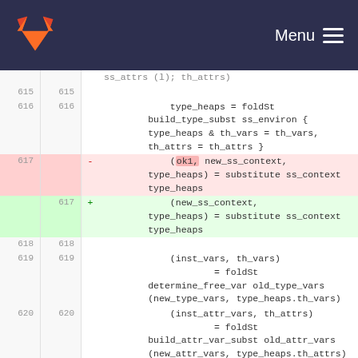GitLab — Menu
[Figure (screenshot): GitLab code diff view showing OCaml/functional code changes around lines 615-620. Line 617 is deleted (red) showing '(ok1, new_ss_context, type_heaps) = substitute ss_context type_heaps' and replaced with line 617 added (green) showing '(new_ss_context, type_heaps) = substitute ss_context type_heaps'.]